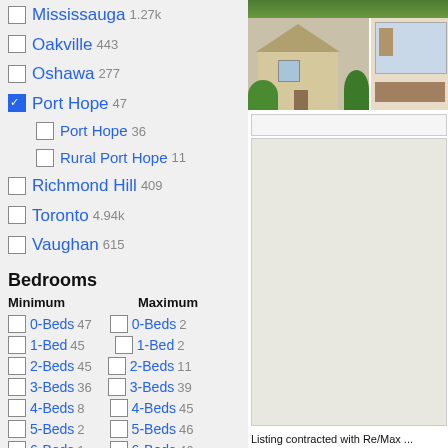Mississauga 1.27k
Oakville 443
Oshawa 277
Port Hope 47 (checked)
Port Hope 36 (indented)
Rural Port Hope 11 (indented)
Richmond Hill 409
Toronto 4.94k
Vaughan 615
Bedrooms
Minimum | Maximum
0-Beds 47 | 0-Beds 2
1-Bed 45 | 1-Bed 2
2-Beds 45 | 2-Beds 11
3-Beds 36 | 3-Beds 39
4-Beds 8 | 4-Beds 45
5-Beds 2 | 5-Beds 46
6-Beds 1 | 6-Beds 46
7-Beds 1 | 7-Beds 47
Bathrooms
Minimum | Maximum
0-Baths 47 | 0-Baths 2
1-Bath 45 | 1-Bath 9
2-Baths 38 | 2-Baths 28
[Figure (photo): House exterior and interior photos on right panel]
Listing contracted with Re/Max ...